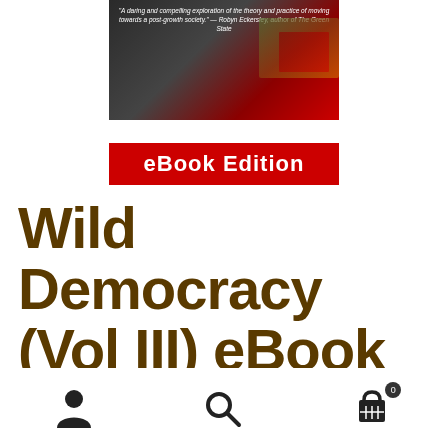[Figure (illustration): Book cover for Wild Democracy Vol III eBook edition, showing a red ribbon banner with 'eBook Edition' text over a dark background with partial imagery and a quote from Robyn Eckersley]
Wild Democracy (Vol III) eBook
USD $3.49
[Figure (infographic): Bottom navigation bar with three icons: user/person icon, search/magnifying glass icon, and shopping cart icon with badge showing 0]